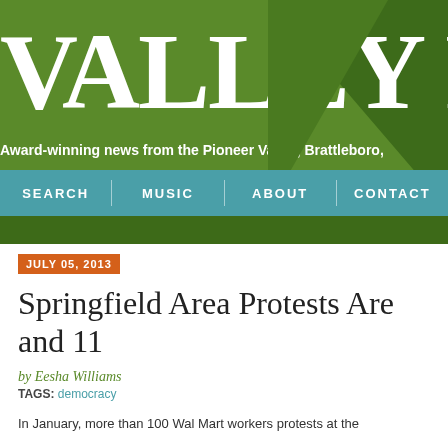VALLEY P
Award-winning news from the Pioneer Valley, Brattleboro,
SEARCH | MUSIC | ABOUT | CONTACT
JULY 05, 2013
Springfield Area Protests Are and 11
by Eesha Williams
TAGS: democracy
In January, more than 100 Wal Mart workers protests at the